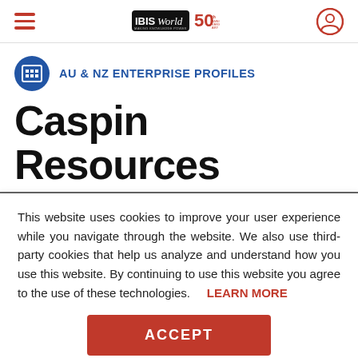IBISWorld 50th Anniversary — navigation header with hamburger menu and user icon
AU & NZ ENTERPRISE PROFILES
Caspin Resources Limited
This website uses cookies to improve your user experience while you navigate through the website. We also use third-party cookies that help us analyze and understand how you use this website. By continuing to use this website you agree to the use of these technologies. LEARN MORE
ACCEPT